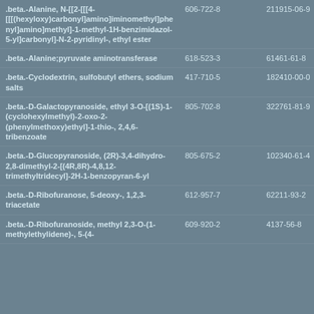| .beta.-Alanine, N-[[2-[[[4-[[[(hexyloxy)carbonyl]amino]iminomethyl]phenyl]amino]methyl]-1-methyl-1H-benzimidazol-5-yl]carbonyl]-N-2-pyridinyl-, ethyl ester | 606-722-8 | 211915-06-9 |
| .beta.-Alanine;pyruvate aminotransferase | 618-523-3 | 61461-61-8 |
| .beta.-Cyclodextrin, sulfobutyl ethers, sodium salts | 417-710-5 | 182410-00-0 |
| .beta.-D-Galactopyranoside, ethyl 3-O-[(1S)-1-(cyclohexylmethyl)-2-oxo-2-(phenylmethoxy)ethyl]-1-thio-, 2,4,6-tribenzoate | 805-702-8 | 322761-81-9 |
| .beta.-D-Glucopyranoside, (2R)-3,4-dihydro-2,8-dimethyl-2-[(4R,8R)-4,8,12-trimethyltridecyl]-2H-1-benzopyran-6-yl | 805-675-2 | 102340-61-4 |
| .beta.-D-Ribofuranose, 5-deoxy-, 1,2,3-triacetate | 612-957-7 | 62211-93-2 |
| .beta.-D-Ribofuranoside, methyl 2,3-O-(1-methylethylidene)-, 5-(4- | 609-920-2 | 4137-56-8 |